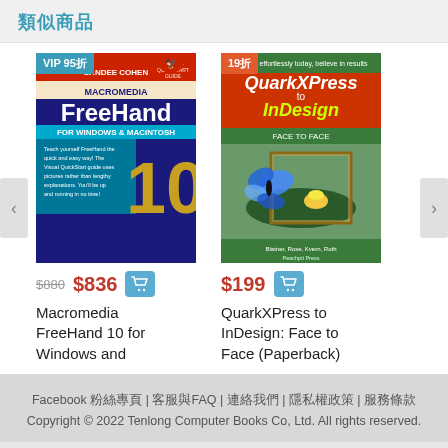類似商品
[Figure (illustration): Book cover: Macromedia FreeHand 10 for Windows and Macintosh with VIP 95折 badge]
$880 $836
Macromedia FreeHand 10 for Windows and
[Figure (illustration): Book cover: QuarkXPress to InDesign: Face to Face with 19折 badge]
$199
QuarkXPress to InDesign: Face to Face (Paperback)
Facebook 粉絲專頁 | 客服與FAQ | 連絡我們 | 隱私權政策 | 服務條款
Copyright © 2022 Tenlong Computer Books Co, Ltd. All rights reserved.